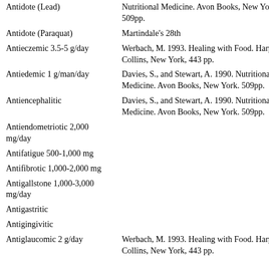| Activity/Dosage | Reference |
| --- | --- |
| Antidote (Lead) | Nutritional Medicine. Avon Books, New York. 509pp. |
| Antidote (Paraquat) | Martindale's 28th |
| Antieczemic 3.5-5 g/day | Werbach, M. 1993. Healing with Food. Harper Collins, New York, 443 pp. |
| Antiedemic 1 g/man/day | Davies, S., and Stewart, A. 1990. Nutritional Medicine. Avon Books, New York. 509pp. |
| Antiencephalitic | Davies, S., and Stewart, A. 1990. Nutritional Medicine. Avon Books, New York. 509pp. |
| Antiendometriotic 2,000 mg/day |  |
| Antifatigue 500-1,000 mg |  |
| Antifibrotic 1,000-2,000 mg |  |
| Antigallstone 1,000-3,000 mg/day |  |
| Antigastritic |  |
| Antigingivitic |  |
| Antiglaucomic 2 g/day | Werbach, M. 1993. Healing with Food. Harper Collins, New York, 443 pp. |